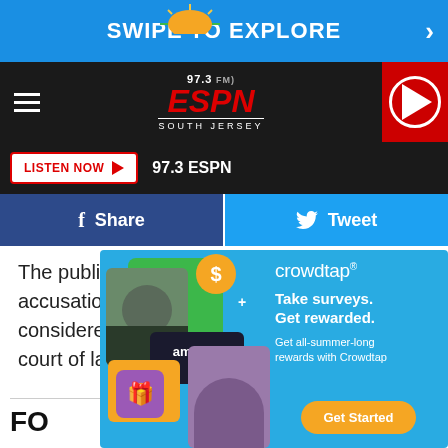SWIPE TO EXPLORE
[Figure (screenshot): 97.3 FM ESPN South Jersey radio station logo with hamburger menu and play button]
LISTEN NOW  97.3 ESPN
Share  Tweet
The public is reminded that charges are accusations and the accused are considered innocent until proven guilty in a court of law.
[Figure (infographic): Crowdtap advertisement: Take surveys. Get rewarded. Get all-summer-long rewards with Crowdtap. Get Started button. Shows man with sunglasses, woman with sunglasses, Amazon card, dollar coin, gift icon.]
FO
WH
TR
NJ